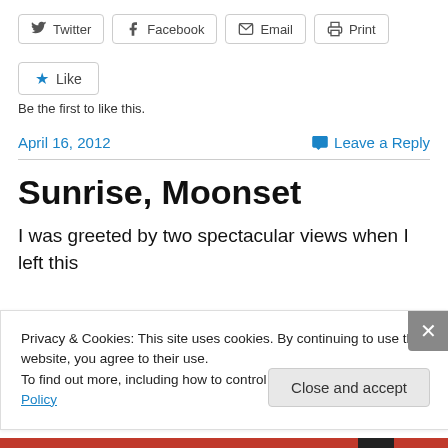[Figure (screenshot): Social share buttons: Twitter, Facebook, Email, Print]
[Figure (screenshot): Like button with star icon]
Be the first to like this.
April 16, 2012   Leave a Reply
Sunrise, Moonset
I was greeted by two spectacular views when I left this
Privacy & Cookies: This site uses cookies. By continuing to use this website, you agree to their use.
To find out more, including how to control cookies, see here: Cookie Policy
Close and accept